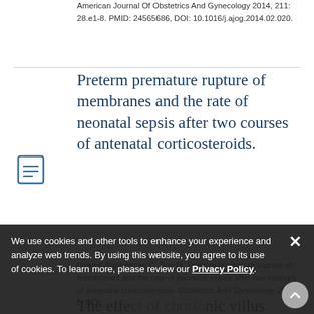American Journal Of Obstetrics And Gynecology 2014, 211: 28.e1-8. PMID: 24565686, DOI: 10.1016/j.ajog.2014.02.020.
Preterm premature rupture of membranes and the rate of neonatal sepsis after two courses of antenatal corticosteroids.
Gyamfi-Bannerman C, Son M. Preterm premature rupture of membranes and the rate of neonatal sepsis after two courses of antenatal corticosteroids. Obstetrics And Gynecology 2014, 0. DOI:
We use cookies and other tools to enhance your experience and analyze web trends. By using this website, you agree to its use of cookies. To learn more, please review our Privacy Policy.
The effect of chorionic villus sampling on the fraction of cell-